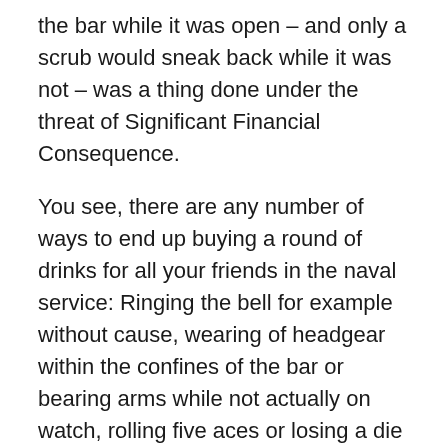the bar while it was open – and only a scrub would sneak back while it was not – was a thing done under the threat of Significant Financial Consequence.
You see, there are any number of ways to end up buying a round of drinks for all your friends in the naval service: Ringing the bell for example without cause, wearing of headgear within the confines of the bar or bearing arms while not actually on watch, rolling five aces or losing a die over the side during a game of chance and of a surety, going behind the bar. These are all offenses grievously sufficient to the punishment of buying drinks for your friends. I do not, for now, mention the Dead Bug.
Surrounded by over a hundred rowdy aviators in various stages of moral decay, getting caught behind the bar could cost you a very great deal of money indeed because even